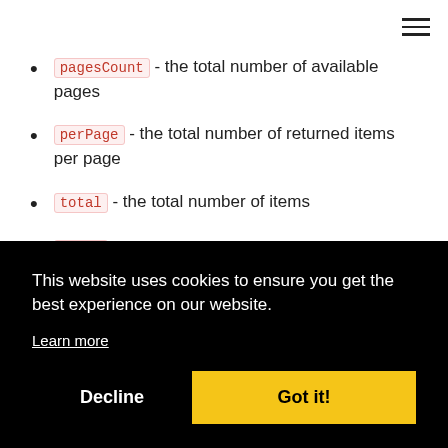pagesCount - the total number of available pages
perPage - the total number of returned items per page
total - the total number of items
items - the list of tasks. Each entry in the list has the following fields:
e),
This website uses cookies to ensure you get the best experience on our website. Learn more
Decline   Got it!